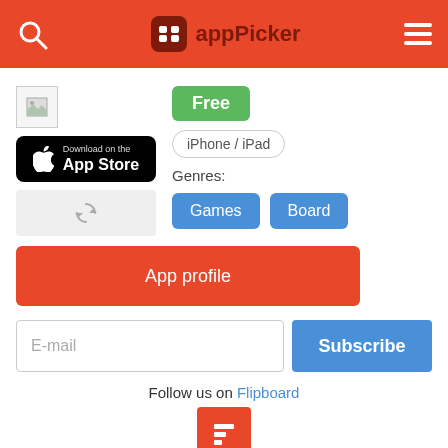appPicker
[Figure (screenshot): App icon placeholder (broken image)]
[Figure (logo): Download on the App Store button]
Free
iPhone / iPad
Genres:
Games
Board
App profile
E-mail
Subscribe
Follow us on Flipboard
[Figure (logo): Flipboard red icon with white F logo]